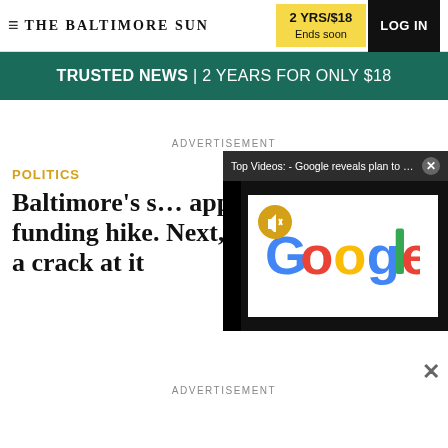THE BALTIMORE SUN | 2 YRS/$18 Ends soon | LOG IN
TRUSTED NEWS | 2 YEARS FOR ONLY $18
ADVERTISEMENT
[Figure (screenshot): Video overlay showing Top Videos: - Google reveals plan to co... with Google logo and mute icon]
POLITICS
Baltimore's s… approves pro… police funding hike. Next, City Council gets a crack at it
ADVERTISEMENT